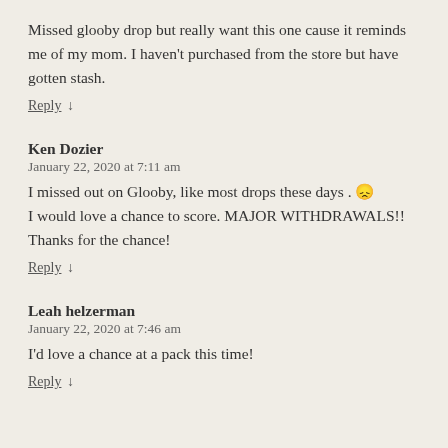Missed glooby drop but really want this one cause it reminds me of my mom. I haven't purchased from the store but have gotten stash.
Reply ↓
Ken Dozier
January 22, 2020 at 7:11 am
I missed out on Glooby, like most drops these days . 😞 I would love a chance to score. MAJOR WITHDRAWALS!! Thanks for the chance!
Reply ↓
Leah helzerman
January 22, 2020 at 7:46 am
I'd love a chance at a pack this time!
Reply ↓